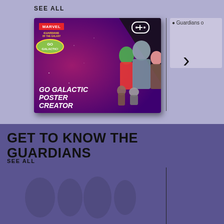SEE ALL
[Figure (screenshot): Marvel Guardians of the Galaxy Go Galactic Poster Creator game card with characters Gamora, Drax, Groot, Rocket Raccoon, and Star-Lord on a purple/magenta background with controller icon]
[Figure (screenshot): Partial view of Guardians of the Galaxy card (cropped, showing 'Guardians o' text placeholder)]
GET TO KNOW THE GUARDIANS
SEE ALL